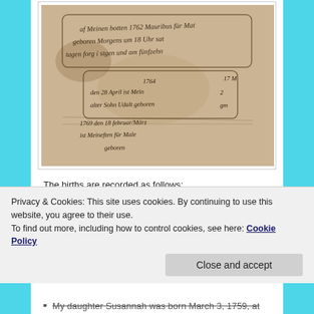[Figure (photo): A photograph of an old handwritten document in cursive script, appearing to be a historical birth record written in German. The document shows entries for years 1762, 1764, and 1769.]
The births are recorded as follows:
My son Daniel Millor was born at 4 o clock at night
Privacy & Cookies: This site uses cookies. By continuing to use this website, you agree to their use.
To find out more, including how to control cookies, see here: Cookie Policy
My daughter Susannah was born March 3, 1759, at